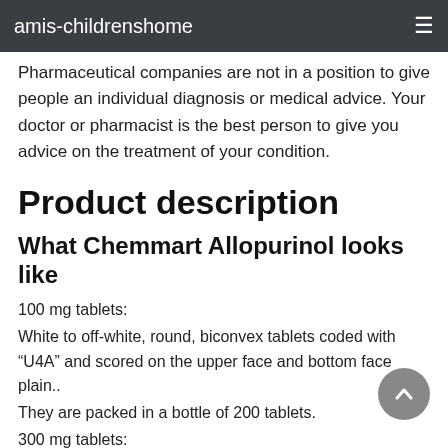amis-childrenshome
Pharmaceutical companies are not in a position to give people an individual diagnosis or medical advice. Your doctor or pharmacist is the best person to give you advice on the treatment of your condition.
Product description
What Chemmart Allopurinol looks like
100 mg tablets:
White to off-white, round, biconvex tablets coded with “U4A” and scored on the upper face and bottom face plain..
They are packed in a bottle of 200 tablets.
300 mg tablets:
White, round, biconvex tablets coded with “C9B” and scored on the upper face and bottom face plain. They are packed in a